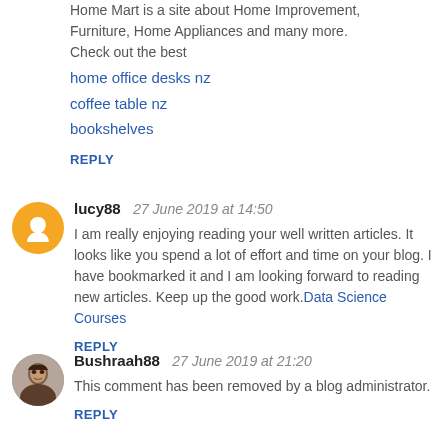Home Mart is a site about Home Improvement, Furniture, Home Appliances and many more. Check out the best
home office desks nz
coffee table nz
bookshelves
REPLY
lucy88   27 June 2019 at 14:50
I am really enjoying reading your well written articles. It looks like you spend a lot of effort and time on your blog. I have bookmarked it and I am looking forward to reading new articles. Keep up the good work. Data Science Courses
REPLY
Bushraah88   27 June 2019 at 21:20
This comment has been removed by a blog administrator.
REPLY